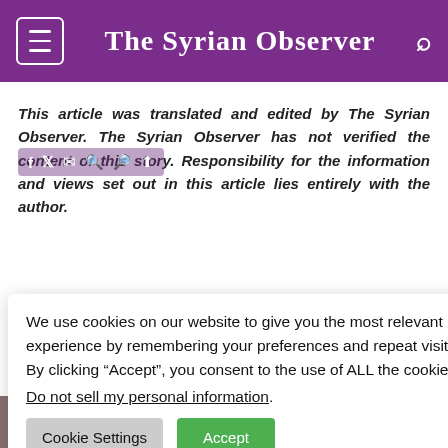The Syrian Observer
This article was translated and edited by The Syrian Observer. The Syrian Observer has not verified the content of this story. Responsibility for the information and views set out in this article lies entirely with the author.
We use cookies on our website to give you the most relevant experience by remembering your preferences and repeat visits. By clicking “Accept”, you consent to the use of ALL the cookies.
Do not sell my personal information.
Cookie Settings  Accept
attack Civilians
August 22nd, 2022
on Eastern
ntability
bsite), Monday
nd
Depreciation, Including Asma al-Assad and Drugs